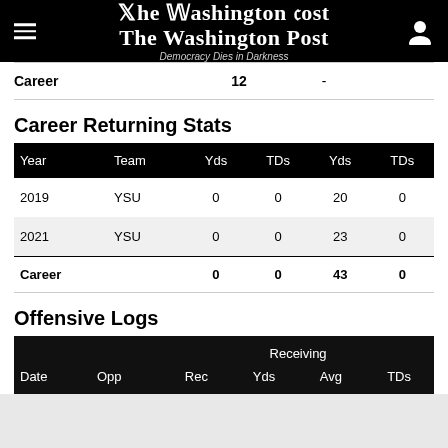The Washington Post — Democracy Dies in Darkness
| Year | Team | Yds | TDs | Yds | TDs |
| --- | --- | --- | --- | --- | --- |
| 2019 | YSU | 0 | 0 | 20 | 0 |
| 2021 | YSU | 0 | 0 | 23 | 0 |
| Career |  | 0 | 0 | 43 | 0 |
Career Returning Stats
Offensive Logs
| Date | Opp | Rec | Yds | Avg | TDs |
| --- | --- | --- | --- | --- | --- |